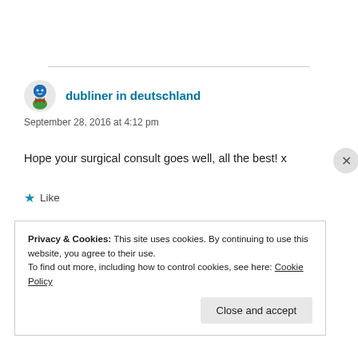dubliner in deutschland
September 28, 2016 at 4:12 pm
Hope your surgical consult goes well, all the best! x
Like
Reply
Privacy & Cookies: This site uses cookies. By continuing to use this website, you agree to their use.
To find out more, including how to control cookies, see here: Cookie Policy
Close and accept